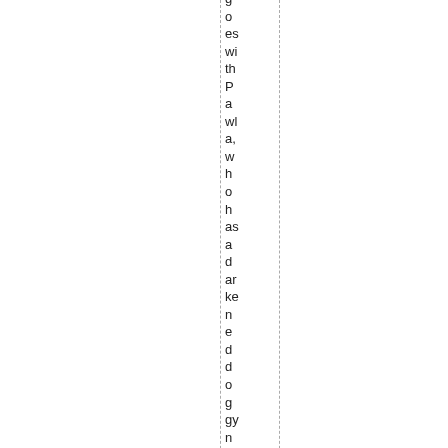goes with Pawla, who has a darkened doggy nose. They